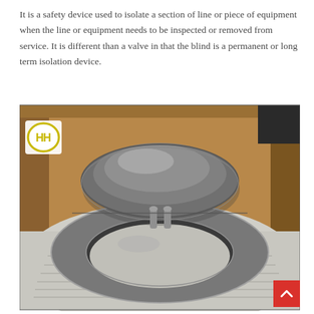It is a safety device used to isolate a section of line or piece of equipment when the line or equipment needs to be inspected or removed from service. It is different than a valve in that the blind is a permanent or long term isolation device.
[Figure (photo): Photograph of two large metal blind flanges (one solid disc-shaped blind and one ring spacer) packed in a wooden crate with protective foam padding. An HH logo is visible on a white label in the upper left of the crate.]